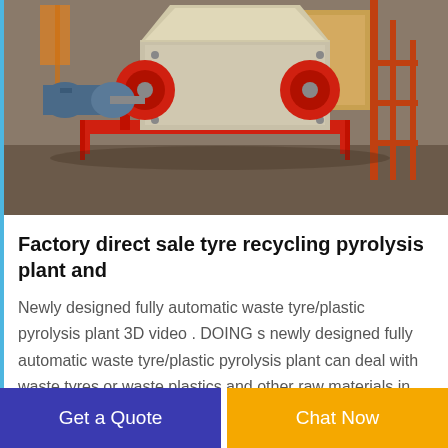[Figure (photo): Industrial red-painted tyre recycling/pyrolysis machine with electric motor on the left side and hopper/chute on top, positioned outdoors on a dirt/concrete yard with industrial scaffolding structures in the background.]
Factory direct sale tyre recycling pyrolysis plant and
Newly designed fully automatic waste tyre/plastic pyrolysis plant 3D video . DOING s newly designed fully automatic waste tyre/plastic pyrolysis plant can deal with waste tyres or waste plastics and other raw materials in large quantities and